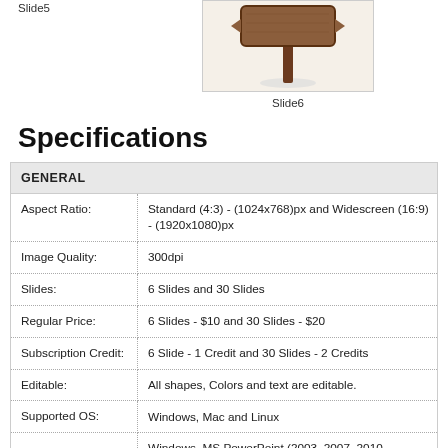Slide5
[Figure (illustration): Slide6 thumbnail showing a wooden sign post illustration on a light background]
Slide6
Specifications
|  |  |
| --- | --- |
| GENERAL |  |
| Aspect Ratio: | Standard (4:3) - (1024x768)px and Widescreen (16:9) - (1920x1080)px |
| Image Quality: | 300dpi |
| Slides: | 6 Slides and 30 Slides |
| Regular Price: | 6 Slides - $10 and 30 Slides - $20 |
| Subscription Credit: | 6 Slide - 1 Credit and 30 Slides - 2 Credits |
| Editable: | All shapes, Colors and text are editable. |
| Supported OS: | Windows, Mac and Linux |
|  | Windows, MS PowerPoint (2003, 2007, 2010 |